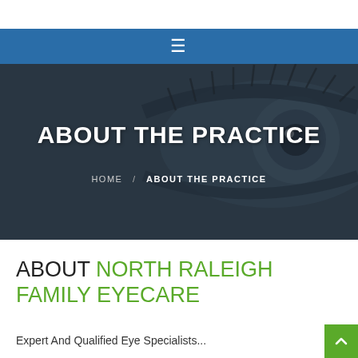[Figure (screenshot): Top white navigation bar area]
≡ (hamburger menu icon in blue navigation bar)
[Figure (photo): Hero banner with a close-up eye photograph as background, overlaid with dark tint]
ABOUT THE PRACTICE
HOME / ABOUT THE PRACTICE
ABOUT NORTH RALEIGH FAMILY EYECARE
Expert And Qualified Eye Specialists...